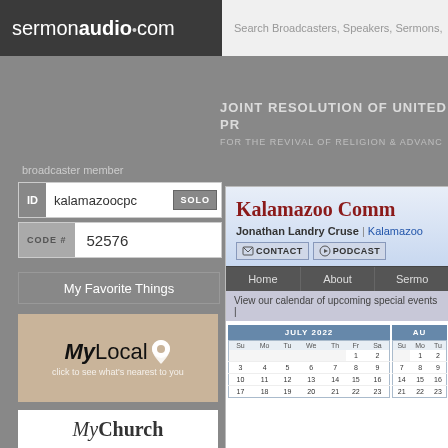sermonaudio.com | Search Broadcasters, Speakers, Sermons,
JOINT RESOLUTION OF UNITED PR FOR THE REVIVAL OF RELIGION & ADVANC
broadcaster member
ID kalamazoocpc SOLO
CODE # 52576
My Favorite Things
[Figure (logo): MyLocal logo with pin icon and text 'click to see what's nearest to you']
Kalamazoo Comm
Jonathan Landry Cruse | Kalamazoo
CONTACT | PODCAST
Home | About | Sermo
View our calendar of upcoming special events |
| Su | Mo | Tu | We | Th | Fr | Sa |
| --- | --- | --- | --- | --- | --- | --- |
|  |  |  |  |  | 1 | 2 |
| 3 | 4 | 5 | 6 | 7 | 8 | 9 |
| 10 | 11 | 12 | 13 | 14 | 15 | 16 |
| 17 | 18 | 19 | 20 | 21 | 22 | 23 |
| Su | Mo | Tu |
| --- | --- | --- |
|  | 1 | 2 |
| 7 | 8 | 9 |
| 14 | 15 | 16 |
| 21 | 22 | 23 |